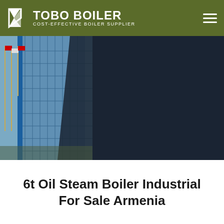TOBO BOILER — COST-EFFECTIVE BOILER SUPPLIER
[Figure (screenshot): Website banner showing industrial building on left and steam boilers on dark background. Text overlay reads: STEAM BOILER / Gas(Oil) Fired Integrated Steam Boiler / Rated thermal power: 0.5-20t/h / Rated thermal efficiency: > 100-104%]
6t Oil Steam Boiler Industrial For Sale Armenia